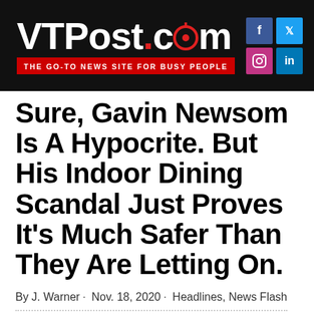VTPost.com · THE GO-TO NEWS SITE FOR BUSY PEOPLE
Sure, Gavin Newsom Is A Hypocrite. But His Indoor Dining Scandal Just Proves It's Much Safer Than They Are Letting On.
By J. Warner · Nov. 18, 2020 · Headlines, News Flash